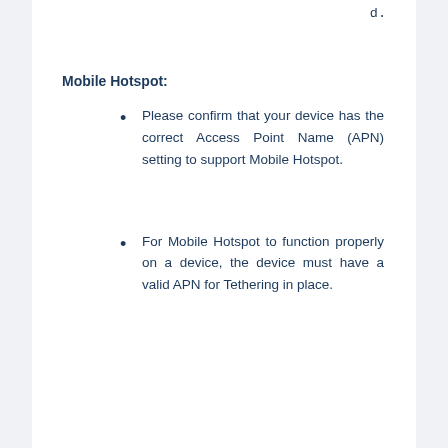d.
Mobile Hotspot:
Please confirm that your device has the correct Access Point Name (APN) setting to support Mobile Hotspot.
For Mobile Hotspot to function properly on a device, the device must have a valid APN for Tethering in place.